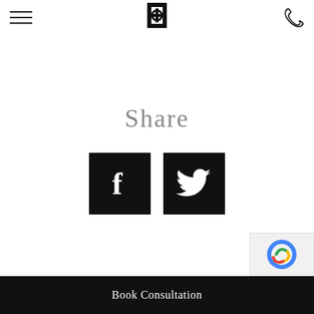[Figure (logo): Website header with hamburger menu icon on the left, a circular logo in the center, and a phone icon on the right]
Share
[Figure (illustration): Two black square social media icons side by side: Facebook (f) and Twitter (bird)]
Book Consultation